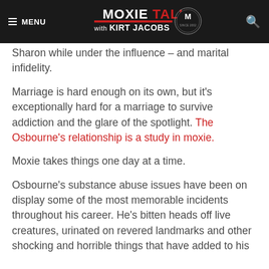MOXIE TALK with KIRT JACOBS
Sharon while under the influence – and marital infidelity.
Marriage is hard enough on its own, but it's exceptionally hard for a marriage to survive addiction and the glare of the spotlight. The Osbourne's relationship is a study in moxie.
Moxie takes things one day at a time.
Osbourne's substance abuse issues have been on display some of the most memorable incidents throughout his career. He's bitten heads off live creatures, urinated on revered landmarks and other shocking and horrible things that have added to his